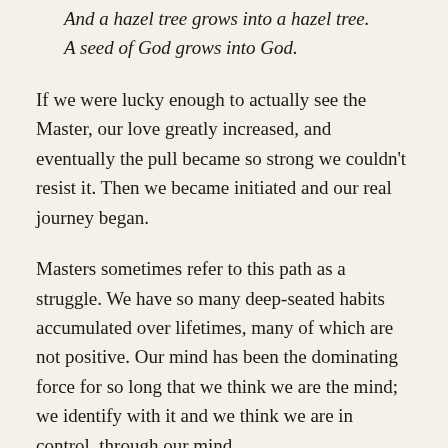And a hazel tree grows into a hazel tree.
A seed of God grows into God.
If we were lucky enough to actually see the Master, our love greatly increased, and eventually the pull became so strong we couldn't resist it. Then we became initiated and our real journey began.
Masters sometimes refer to this path as a struggle. We have so many deep-seated habits accumulated over lifetimes, many of which are not positive. Our mind has been the dominating force for so long that we think we are the mind; we identify with it and we think we are in control, through our mind.
The mind is constantly chattering away about that all important story: 'the story of me'. The mind enhances and embellishes this story, trying to give reality to the